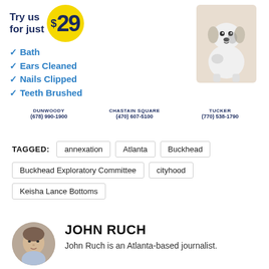[Figure (infographic): Dog grooming advertisement: 'Try us for just $29' in a yellow circle, with checkmarks for Bath, Ears Cleaned, Nails Clipped, Teeth Brushed, and a photo of a dog. Locations: Dunwoody (678) 990-1900, Chastain Square (470) 607-5100, Tucker (770) 538-1790]
TAGGED: annexation Atlanta Buckhead Buckhead Exploratory Committee cityhood Keisha Lance Bottoms
[Figure (photo): Circular headshot photo of John Ruch, an Atlanta-based journalist]
JOHN RUCH
John Ruch is an Atlanta-based journalist.